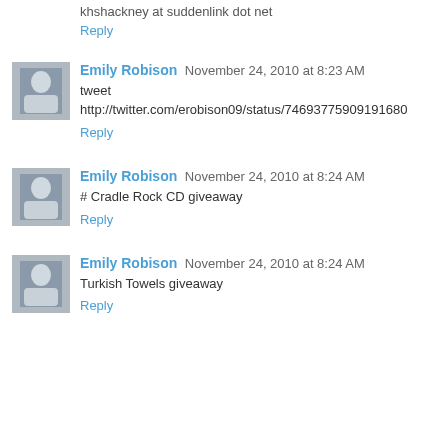khshackney at suddenlink dot net
Reply
Emily Robison  November 24, 2010 at 8:23 AM
tweet
http://twitter.com/erobison09/status/74693775909191680
Reply
Emily Robison  November 24, 2010 at 8:24 AM
# Cradle Rock CD giveaway
Reply
Emily Robison  November 24, 2010 at 8:24 AM
Turkish Towels giveaway
Reply